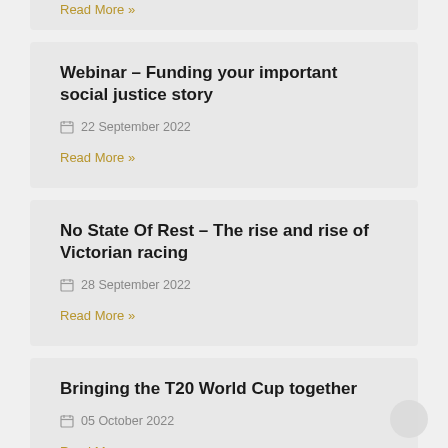Read More »
Webinar – Funding your important social justice story
22 September 2022
Read More »
No State Of Rest – The rise and rise of Victorian racing
28 September 2022
Read More »
Bringing the T20 World Cup together
05 October 2022
Read More »